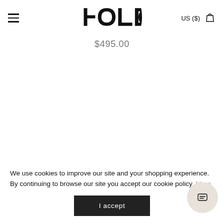FOLD — US ($)
$495.00
We use cookies to improve our site and your shopping experience. By continuing to browse our site you accept our cookie policy. More
I accept